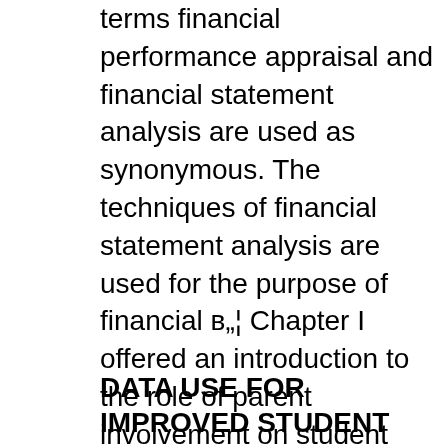terms financial performance appraisal and financial statement analysis are used as synonymous. The techniques of financial statement analysis are used for the purpose of financial в„¦ Chapter I offered an introduction to the role of parent involvement on student motivation and academic achievement. The purpose of this study was discussed and the research question and hypotheses were detailed. The limitations and delimitations were stated and terms were defined. Chapter II provides a review of the literature and
DATA USE FOR IMPROVED STUDENT ACHIEVEMENT 2 THE SYSTEMIC USE OF DATA TO INFORM IMPROVEMENT IN